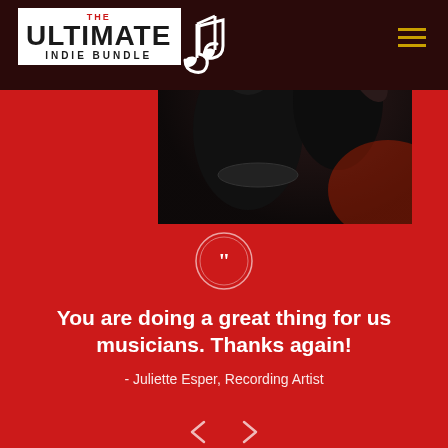[Figure (logo): THE ULTIMATE INDIE BUNDLE logo with music note, white box on dark background]
[Figure (photo): Dark photo of musicians performing, shadowy figures with raised hand]
You are doing a great thing for us musicians. Thanks again!
- Juliette Esper, Recording Artist